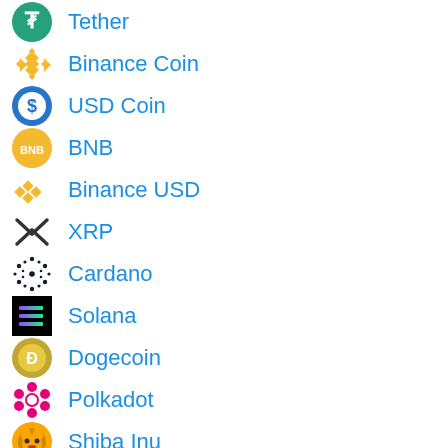Tether
Binance Coin
USD Coin
BNB
Binance USD
XRP
Cardano
Solana
Dogecoin
Polkadot
Shiba Inu